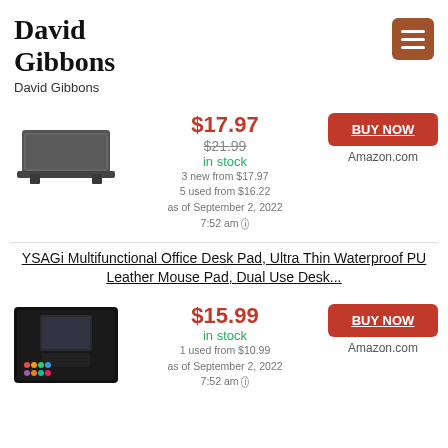David Gibbons
David Gibbons
[Figure (photo): Monitor stand / riser product image]
$17.97
$21.99
in stock
3 new from $17.97
5 used from $16.22
as of September 2, 2022
7:52 am
BUY NOW
Amazon.com
YSAGi Multifunctional Office Desk Pad, Ultra Thin Waterproof PU Leather Mouse Pad, Dual Use Desk...
[Figure (photo): Desk pad / PU leather mouse pad product image]
$15.99
in stock
1 used from $10.99
as of September 2, 2022
7:52 am
BUY NOW
Amazon.com